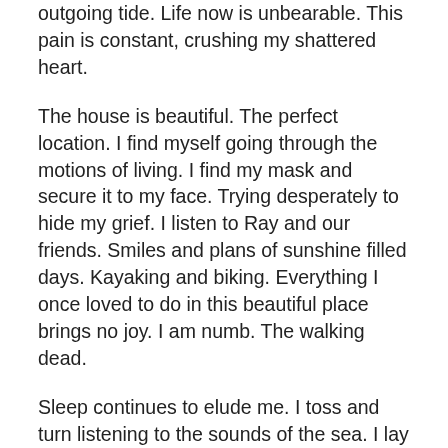outgoing tide.  Life now is unbearable.   This pain is constant, crushing my shattered heart.
The house is beautiful.  The perfect location.  I find myself going through the motions of living.  I find my mask and secure it to my face.  Trying desperately to hide my grief.  I listen to Ray and our friends.  Smiles and plans of sunshine filled days.   Kayaking and biking.  Everything I once loved to do in this beautiful place brings no joy.  I am numb.  The walking dead.
Sleep continues to elude me.  I toss and turn listening to the sounds of the sea.  I lay in the dark silently crying.  I wonder where you are.  I wonder if you know that you're gone.  I wonder how I will every survive the rest of my life.
Days are spent pretending I'm ok.   I find myself drawn to the back of the house.  The turquoise sea surrounds me.  The sun kisses my cold skin with warmth.  Nothing can